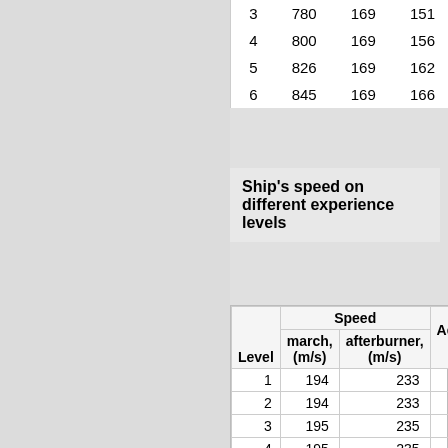|  |  |  |  |
| --- | --- | --- | --- |
| 3 | 780 | 169 | 151 |
| 4 | 800 | 169 | 156 |
| 5 | 826 | 169 | 162 |
| 6 | 845 | 169 | 166 |
Ship's speed on different experience levels
| Level | Speed march, (m/s) | Speed afterburner, (m/s) | Accele (m/... |
| --- | --- | --- | --- |
| 1 | 194 | 233 | 55 |
| 2 | 194 | 233 | 55 |
| 3 | 195 | 235 | 56 |
| 4 | 195 | 235 | 56 |
| 5 | 195 | 235 | 56 |
| 6 | 197 | 236 | 58 |